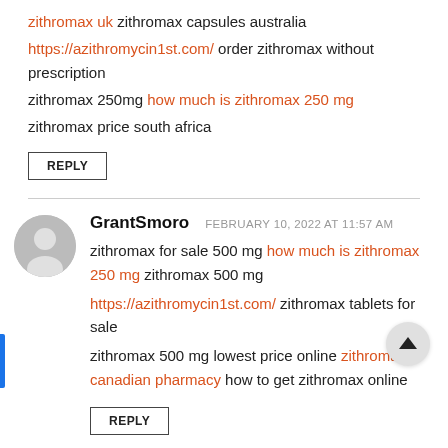zithromax uk zithromax capsules australia https://azithromycin1st.com/ order zithromax without prescription zithromax 250mg how much is zithromax 250 mg zithromax price south africa
REPLY
GrantSmoro FEBRUARY 10, 2022 AT 11:57 AM
zithromax for sale 500 mg how much is zithromax 250 mg zithromax 500 mg https://azithromycin1st.com/ zithromax tablets for sale zithromax 500 mg lowest price online zithromax canadian pharmacy how to get zithromax online
REPLY